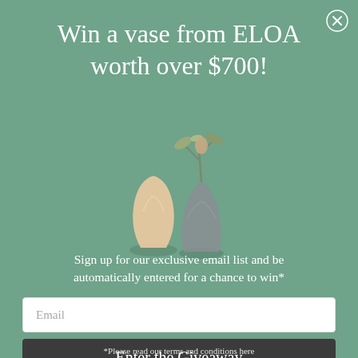Win a vase from ELOA worth over $700!
[Figure (photo): Three decorative glass vases of varying sizes and shapes, one cream/peach colored, one dark grey, and one medium grey with a plant, displayed together on a teal-green background]
Sign up for our exclusive email list and be automatically entered for a chance to win*
Email
Enter the Giveaway
*Please read our terms and conditions here